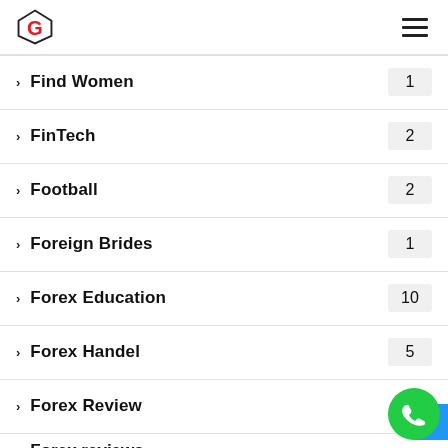G logo and hamburger menu
Find Women 1
FinTech 2
Football 2
Foreign Brides 1
Forex Education 10
Forex Handel 5
Forex Review
Forex reviews (partial)